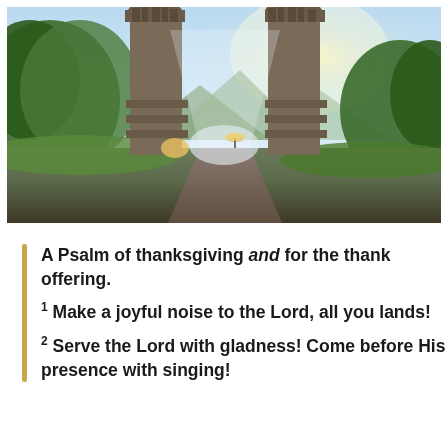[Figure (photo): A dramatic split temple gate (Balinese candi bentar style) with two tall ornate stone towers flanking a road leading into misty green mountains. Lush tropical trees on either side, bright sky with clouds, sunlight streaming through. A person with umbrella visible near the gate.]
A Psalm of thanksgiving and for the thank offering.
1 Make a joyful noise to the Lord, all you lands!
2 Serve the Lord with gladness! Come before His presence with singing!